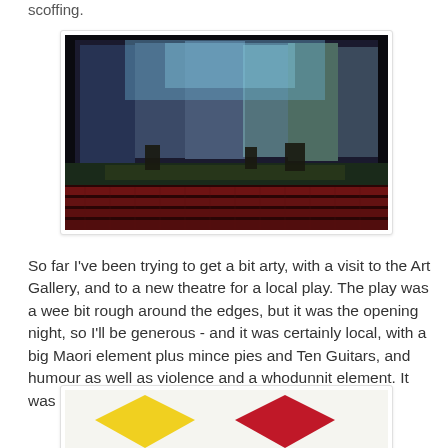scoffing.
[Figure (photo): Theatre stage with colorful projected backdrops showing trees and city scenes, with red audience seats visible in the foreground.]
So far I've been trying to get a bit arty, with a visit to the Art Gallery, and to a new theatre for a local play. The play was a wee bit rough around the edges, but it was the opening night, so I'll be generous - and it was certainly local, with a big Maori element plus mince pies and Ten Guitars, and humour as well as violence and a whodunnit element. It was 'When the Sun and Moon Collide' since you ask.
[Figure (photo): Art gallery image showing two large diamond-shaped artworks on a white wall — one yellow diamond on the left and one red diamond on the right.]